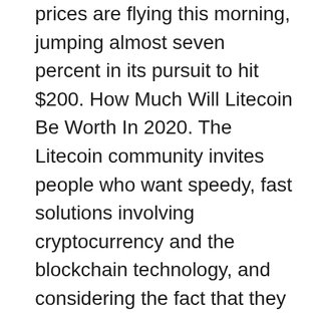prices are flying this morning, jumping almost seven percent in its pursuit to hit $200. How Much Will Litecoin Be Worth In 2020. The Litecoin community invites people who want speedy, fast solutions involving cryptocurrency and the blockchain technology, and considering the fact that they are common proper. To the surprise of many, it seems that Litecoin accounts for 30% of dark web transactions in the present, which is much higher than any other currency that is not Bitcoin used in the dark web at this time. In my theory, China is manipulating prices for their own advantage and Jamie Dimon, is a pessimist. Litecoin is a decentralized digital currency, with all transactions recorded on the public blockchain. Sure, since it peaked back in December 2017, it has lost more than half its value,